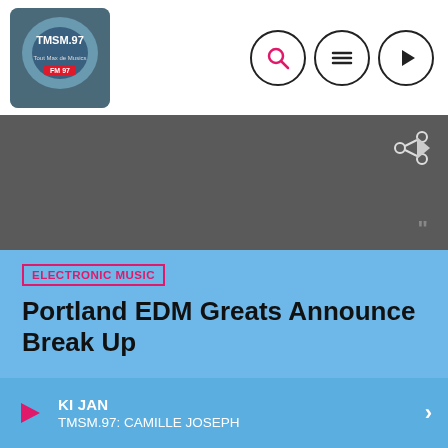[Figure (logo): TMSM.97 radio logo with globe/hands graphic]
[Figure (illustration): Navigation icons: search (magnifying glass), menu (hamburger), play (triangle) in circles]
[Figure (photo): Dark gray banner area with share icon]
ELECTRONIC MUSIC
Portland EDM Greats Announce Break Up
Nous utilisons des cookies sur notre site Web pour vous offrir l'expérience la plus pertinente en mémorisant vos préférences et en répétant vos visites. En cliquant sur « Tout accepter », vous consentez à l'utilisation de TOUS les cookies. Cependant, vous pouvez visiter les « Paramètres des cookies » pour fournir un consentement contrôlé.
KI JAN
TMSM.97: CAMILLE JOSEPH